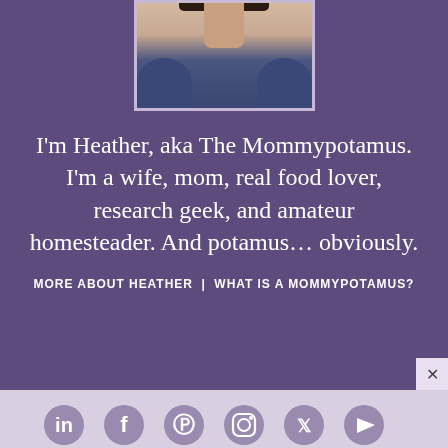[Figure (photo): Cropped photo of Heather (The Mommypotamus) showing neck and shoulders, wearing a navy blue top, with dark curly hair, framed with a light border, on purple background]
I'm Heather, aka The Mommypotamus. I'm a wife, mom, real food lover, research geek, and amateur homesteader. And potamus… obviously.
MORE ABOUT HEATHER  |  WHAT IS A MOMMYPOTAMUS?
[Figure (infographic): Social media icons row on gray background: LinkedIn, Facebook, Pinterest, Instagram, Twitter, and one more icon]